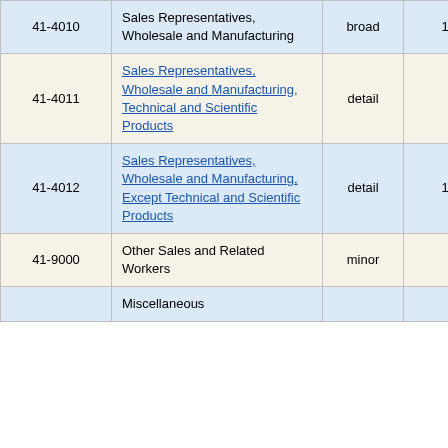| Code | Title | Level | Num1 | Num2 |
| --- | --- | --- | --- | --- |
| 41-4010 | Sales Representatives, Wholesale and Manufacturing | broad | 1,240 | 10. |
| 41-4011 | Sales Representatives, Wholesale and Manufacturing, Technical and Scientific Products | detail | 170 | 13. |
| 41-4012 | Sales Representatives, Wholesale and Manufacturing, Except Technical and Scientific Products | detail | 1,070 | 10. |
| 41-9000 | Other Sales and Related Workers | minor | 150 | 28. |
|  | Miscellaneous |  |  |  |